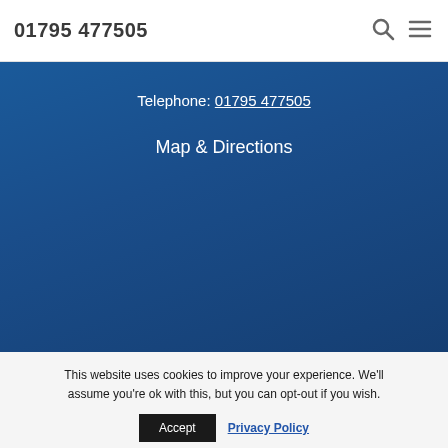01795 477505
Telephone: 01795 477505
Map & Directions
This website uses cookies to improve your experience. We'll assume you're ok with this, but you can opt-out if you wish.
Accept  Privacy Policy